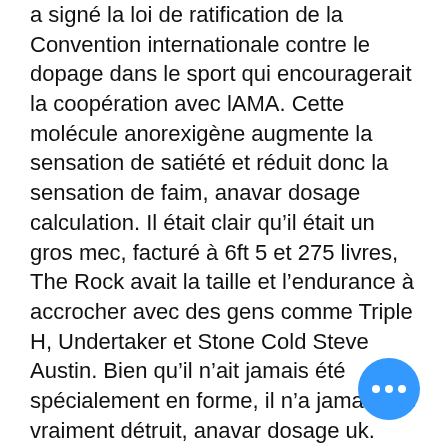a signé la loi de ratification de la Convention internationale contre le dopage dans le sport qui encouragerait la coopération avec lAMA. Cette molécule anorexigène augmente la sensation de satiété et réduit donc la sensation de faim, anavar dosage calculation. Il était clair qu&rsquo;il était un gros mec, facturé à 6ft 5 et 275 livres, The Rock avait la taille et l&rsquo;endurance à accrocher avec des gens comme Triple H, Undertaker et Stone Cold Steve Austin. Bien qu&rsquo;il n&rsquo;ait jamais été spécialement en forme, il n&rsquo;a jamais été vraiment détruit, anavar dosage uk. Date de l&#x27;expérience : 23 août 2021, anavar dosage anabolicminds. Première commande effectué et traitée… Première commande effectué et traitée rapidement. Impacting a vein or artery: our number one goal when injecting into the muscle is to avoid get the needle into a vein or artery; this is reason why the larger muscles a chosen,